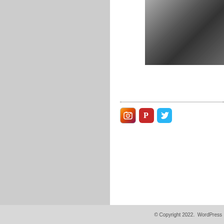[Figure (photo): Partial view of a blurred photo showing dark fabric or clothing, positioned in the upper right area of the page]
[Figure (illustration): Three social media icons in a row: Instagram (camera icon with colorful gradient), Pinterest (red P icon), Twitter (cyan bird icon)]
© Copyright 2022.  WordPress